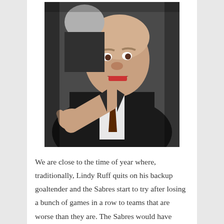[Figure (photo): A man in a dark suit and brown tie, pointing his finger and shouting, with an older person visible behind him. Black and white/color photo of what appears to be a sports coach in an animated moment.]
We are close to the time of year where, traditionally, Lindy Ruff quits on his backup goaltender and the Sabres start to try after losing a bunch of games in a row to teams that are worse than they are. The Sabres would have skipped all of the